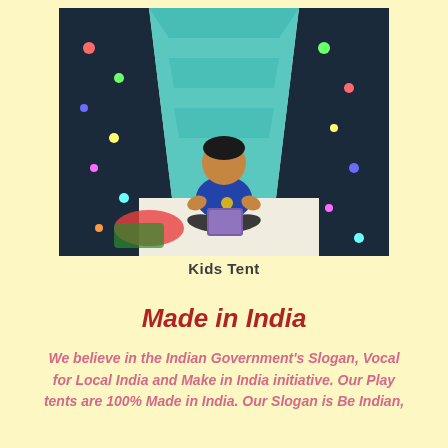[Figure (photo): A young child in a blue t-shirt sitting cross-legged inside a colorful dinosaur-print teepee/play tent, reading a book. The tent fabric features multicolored dinosaurs on a dark background with teal chevron center panel.]
Kids Tent
Made in India
We believe in the Indian Government's Slogan, Vocal for Local India and Make in India initiative. Our Play tents are 100% Made in India. Our Slogan is Be Indian,